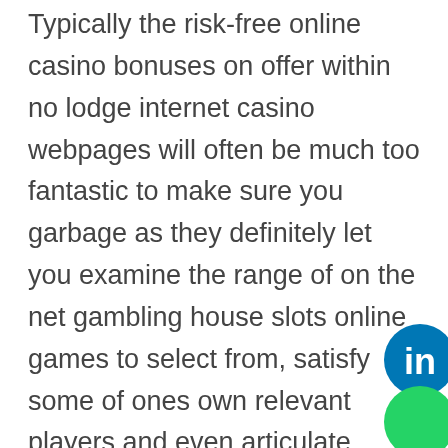Typically the risk-free online casino bonuses on offer within no lodge internet casino webpages will often be much too fantastic to make sure you garbage as they definitely let you examine the range of on the net gambling house slots online games to select from, satisfy some of ones own relevant players and even articulate hosting companies, in addition to get yourself a sense to find the best internet casino web page, even though completely learning casino matches with respect to free. A number of of the wagering organization bonus offer discounts were a tremendous portion of advertising and marketing strategies like a way for you to compel significantly way more online players or
[Figure (logo): LinkedIn logo icon (blue circle with white 'in' text)]
[Figure (logo): Green circle social icon (partially visible at bottom right)]